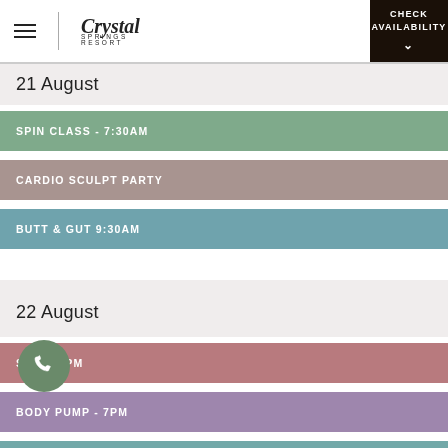Crystal Springs Resort — CHECK AVAILABILITY
21 August
SPIN CLASS - 730AM
CARDIO SCULPT PARTY
BUTT & GUT 9:30AM
22 August
SPIN - 5PM
BODY PUMP - 7PM
BOOT CAMP - 8:30AM
BOX FITNESS & ABS